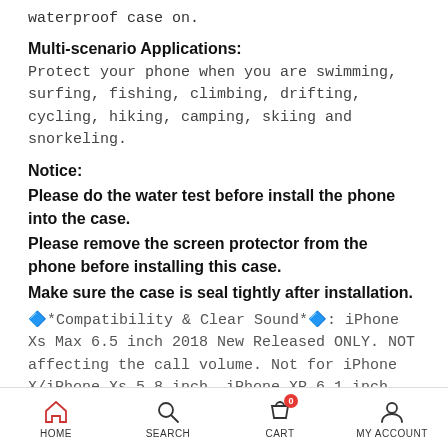waterproof case on.
Multi-scenario Applications:
Protect your phone when you are swimming, surfing, fishing, climbing, drifting, cycling, hiking, camping, skiing and snorkeling.
Notice:
Please do the water test before install the phone into the case.
Please remove the screen protector from the phone before installing this case.
Make sure the case is seal tightly after installation.
🔷*Compatibility & Clear Sound*🔷: iPhone Xs Max 6.5 inch 2018 New Released ONLY. NOT affecting the call volume. Not for iPhone X/iPhone Xs 5.8 inch, iPhone XR 6.1 inch.
🔷*Waterproof & Full Protection*🔷: IP68 solid waterproof case, fully protect the phone in water, snow and damage from drop. Built-in protector prevent the screen from
HOME  SEARCH  CART  MY ACCOUNT